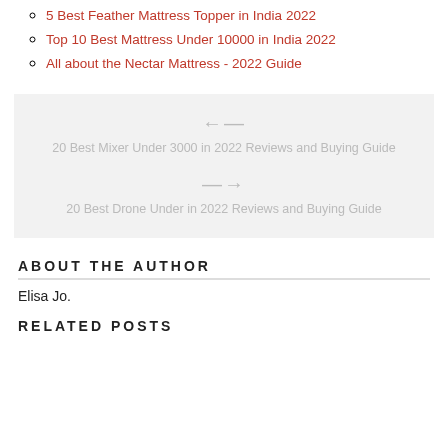5 Best Feather Mattress Topper in India 2022
Top 10 Best Mattress Under 10000 in India 2022
All about the Nectar Mattress - 2022 Guide
[Figure (other): Navigation box with previous and next post links: '20 Best Mixer Under 3000 in 2022 Reviews and Buying Guide' (previous) and '20 Best Drone Under in 2022 Reviews and Buying Guide' (next), shown in gray on light gray background.]
ABOUT THE AUTHOR
Elisa Jo.
RELATED POSTS